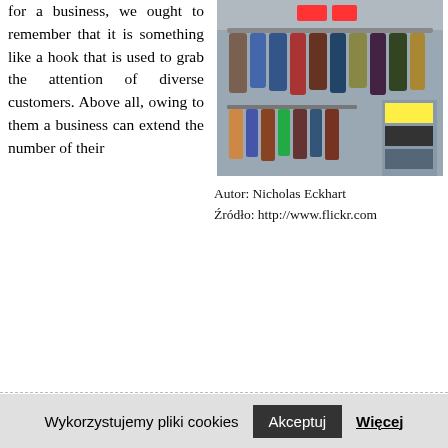for a business, we ought to remember that it is something like a hook that is used to grab the attention of diverse customers. Above all, owing to them a business can extend the number of their
[Figure (photo): Photo of a clothing store interior showing racks of clothes and merchandise.]
Autor: Nicholas Eckhart
Źródło: http://www.flickr.com
users, as plenty people would be able to afford their goods. Generally it has been proved by diverse clients that deciding for more expensive commodities plenty people decide to improve their habits. Moreover, concerning the role of these codes we have to remember that thanks to them an enterprise can also achieve miscellaneous other goals like for instance building strong fanbase etc.
[Figure (photo): Partial bottom image, appears to be a yellow/gold colored image strip.]
It is proved by the
Wykorzystujemy pliki cookies
Akceptuj
Więcej